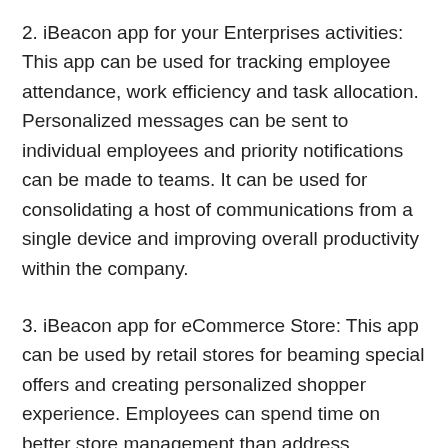2. iBeacon app for your Enterprises activities: This app can be used for tracking employee attendance, work efficiency and task allocation. Personalized messages can be sent to individual employees and priority notifications can be made to teams. It can be used for consolidating a host of communications from a single device and improving overall productivity within the company.
3. iBeacon app for eCommerce Store: This app can be used by retail stores for beaming special offers and creating personalized shopper experience. Employees can spend time on better store management than address customer queries as the app will manage arrangements and address customer queries automatically. Customers can view special offers that are relevant to them, use multiple payment